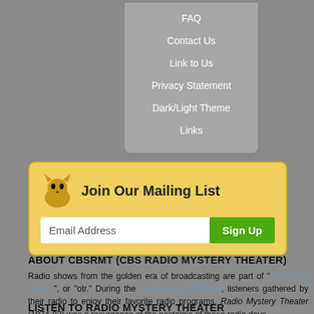FAQ
Contact Us
Link to Us
Privacy Statement
Dark/Light Theme
Links
[Figure (infographic): Join Our Mailing List box with cat icon, email address input field, and Sign Up button]
ABOUT CBSRMT (CBS RADIO MYSTERY THEATER)
Radio shows from the golden era of broadcasting are part of " Old Time Radio ", or "otr." During the Golden Age of Radio, listeners gathered by their radio to enjoy their favorite radio programs. Radio Mystery Theater (1974-82) was a resurgence of the nostalgia of those radio days.
LISTEN TO RADIO MYSTERY THEATER